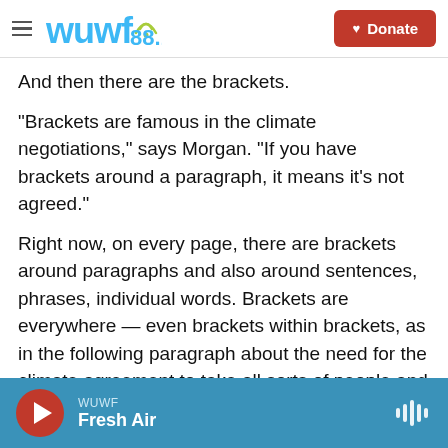WUWF 88.1 — Donate
And then there are the brackets.
"Brackets are famous in the climate negotiations," says Morgan. "If you have brackets around a paragraph, it means it's not agreed."
Right now, on every page, there are brackets around paragraphs and also around sentences, phrases, individual words. Brackets are everywhere — even brackets within brackets, as in the following paragraph about the need for the climate agreement to take all sorts of people and competing needs into account:
WUWF — Fresh Air